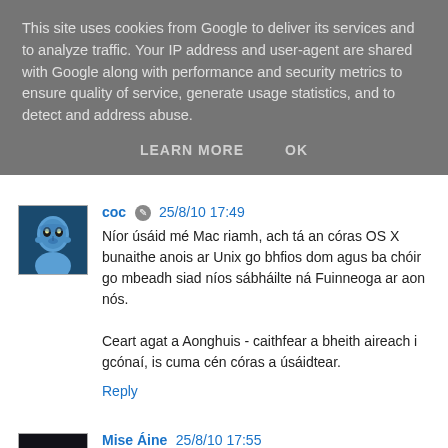This site uses cookies from Google to deliver its services and to analyze traffic. Your IP address and user-agent are shared with Google along with performance and security metrics to ensure quality of service, generate usage statistics, and to detect and address abuse.
LEARN MORE   OK
coc  25/8/10 17:49
Níor úsáid mé Mac riamh, ach tá an córas OS X bunaithe anois ar Unix go bhfios dom agus ba chóir go mbeadh siad níos sábháilte ná Fuinneoga ar aon nós.

Ceart agat a Aonghuis - caithfear a bheith aireach i gcónaí, is cuma cén córas a úsáidtear.
Reply
Mise Áine  25/8/10 17:55